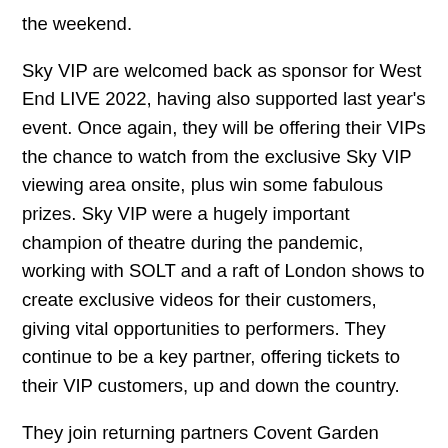the weekend.
Sky VIP are welcomed back as sponsor for West End LIVE 2022, having also supported last year's event. Once again, they will be offering their VIPs the chance to watch from the exclusive Sky VIP viewing area onsite, plus win some fabulous prizes. Sky VIP were a hugely important champion of theatre during the pandemic, working with SOLT and a raft of London shows to create exclusive videos for their customers, giving vital opportunities to performers. They continue to be a key partner, offering tickets to their VIP customers, up and down the country.
They join returning partners Covent Garden capco, The Crown Estate, Derwent London, Great Western Railway, Heart of London Business Alliance, New West End Company,